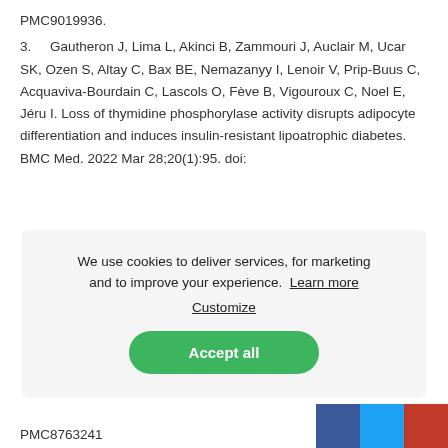PMC9019936.
3.     Gautheron J, Lima L, Akinci B, Zammouri J, Auclair M, Ucar SK, Ozen S, Altay C, Bax BE, Nemazanyy I, Lenoir V, Prip-Buus C, Acquaviva-Bourdain C, Lascols O, Fève B, Vigouroux C, Noel E, Jéru I. Loss of thymidine phosphorylase activity disrupts adipocyte differentiation and induces insulin-resistant lipoatrophic diabetes. BMC Med. 2022 Mar 28;20(1):95. doi:
[Figure (screenshot): Cookie consent overlay with text: 'We use cookies to deliver services, for marketing and to improve your experience. Learn more Customize' and a green 'Accept all' button.]
PMC8763241